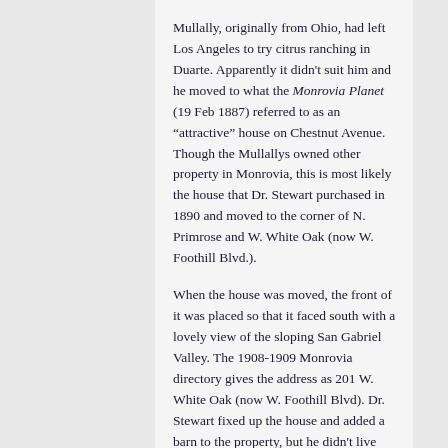Mullally, originally from Ohio, had left Los Angeles to try citrus ranching in Duarte. Apparently it didn't suit him and he moved to what the Monrovia Planet (19 Feb 1887) referred to as an "attractive" house on Chestnut Avenue. Though the Mullallys owned other property in Monrovia, this is most likely the house that Dr. Stewart purchased in 1890 and moved to the corner of N. Primrose and W. White Oak (now W. Foothill Blvd.).

When the house was moved, the front of it was placed so that it faced south with a lovely view of the sloping San Gabriel Valley. The 1908-1909 Monrovia directory gives the address as 201 W. White Oak (now W. Foothill Blvd). Dr. Stewart fixed up the house and added a barn to the property, but he didn't live there long. He moved his medical practice to Los Angeles and sold the house to another doctor, Russell D. Adams in 1893.